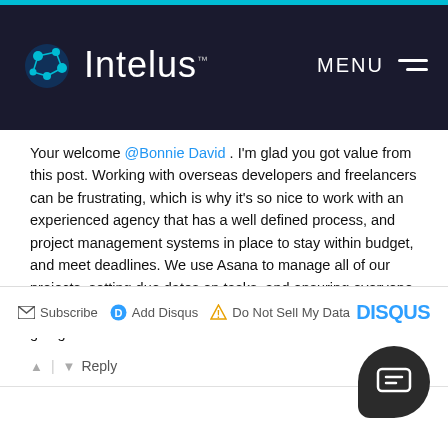Intelus — MENU
Your welcome @Bonnie David . I'm glad you got value from this post. Working with overseas developers and freelancers can be frustrating, which is why it's so nice to work with an experienced agency that has a well defined process, and project management systems in place to stay within budget, and meet deadlines. We use Asana to manage all of our projects, setting due dates on tasks, and ensuring everyone working on the project is up to speed with everything that is going on.
↑ | ↓  Reply
Subscribe  Add Disqus  Do Not Sell My Data  DISQUS